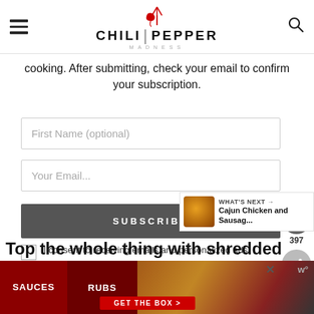CHILI PEPPER MADNESS
cooking. After submitting, check your email to confirm your subscription.
First Name (optional)
Your Email...
SUBSCRIBE
I consent to receiving emails and personalized ads.
397
WHAT'S NEXT → Cajun Chicken and Sausag...
Top the whole thing with shredded
[Figure (infographic): Advertisement banner: SAUCES | RUBS with food imagery and GET THE BOX button]